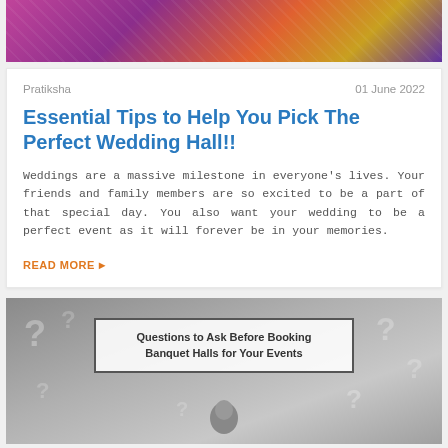[Figure (photo): Top partial image of a colorful Indian wedding event scene with pink/purple/orange lighting]
Pratiksha
01 June 2022
Essential Tips to Help You Pick The Perfect Wedding Hall!!
Weddings are a massive milestone in everyone's lives. Your friends and family members are so excited to be a part of that special day. You also want your wedding to be a perfect event as it will forever be in your memories.
READ MORE ▸
[Figure (photo): Grayscale image with question mark symbols and a person, containing a text overlay box reading 'Questions to Ask Before Booking Banquet Halls for Your Events']